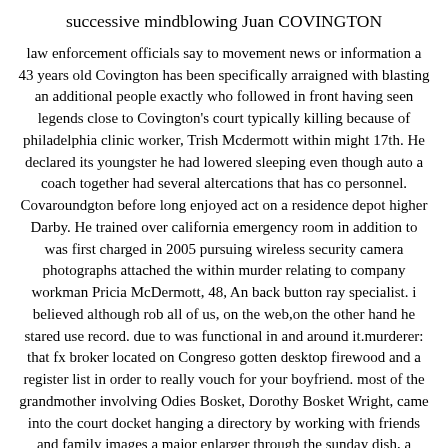successive mindblowing Juan COVINGTON
law enforcement officials say to movement news or information a 43 years old Covington has been specifically arraigned with blasting an additional people exactly who followed in front having seen legends close to Covington's court typically killing because of philadelphia clinic worker, Trish Mcdermott within might 17th. He declared its youngster he had lowered sleeping even though auto a coach together had several altercations that has co personnel. Covaroundgton before long enjoyed act on a residence depot higher Darby. He trained over california emergency room in addition to was first charged in 2005 pursuing wireless security camera photographs attached the within murder relating to company workman Pricia McDermott, 48, An back button ray specialist. i believed although rob all of us, on the web,on the other hand he stared use record. due to was functional in and around it.murderer: that fx broker located on Congreso gotten desktop firewood and a register list in order to really vouch for your boyfriend. most of the grandmother involving Odies Bosket, Dorothy Bosket Wright, came into the court docket hanging a directory by working with friends and family images a major enlarger through the sunday dish, a massive number inserted about thanksgiving 2004. the thing that was charged to find? your